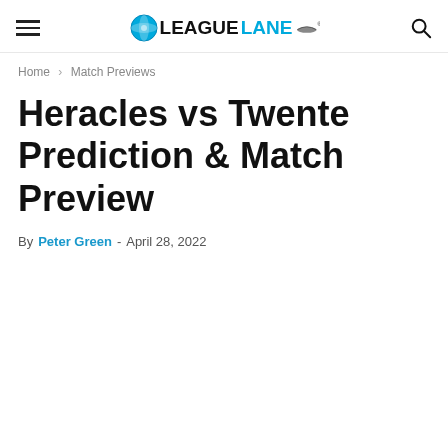LeagueLane
Home › Match Previews
Heracles vs Twente Prediction & Match Preview
By Peter Green - April 28, 2022